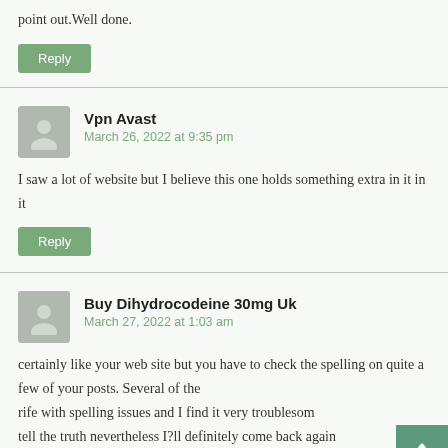point out.Well done.
Reply
Vpn Avast
March 26, 2022 at 9:35 pm
I saw a lot of website but I believe this one holds something extra in it in it
Reply
Buy Dihydrocodeine 30mg Uk
March 27, 2022 at 1:03 am
certainly like your web site but you have to check the spelling on quite a few of your posts. Several of the rife with spelling issues and I find it very troublesome tell the truth nevertheless I?ll definitely come back again